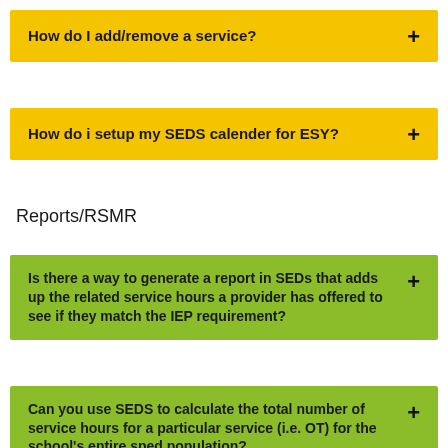How do I add/remove a service?
How do i setup my SEDS calender for ESY?
Reports/RSMR
Is there a way to generate a report in SEDs that adds up the related service hours a provider has offered to see if they match the IEP requirement?
Can you use SEDS to calculate the total number of service hours for a particular service (i.e. OT) for the school's entire sped population?